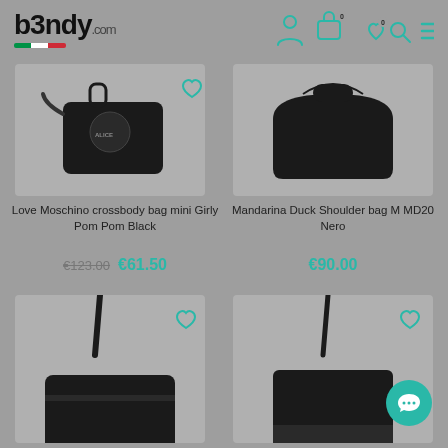b3ndy.com
[Figure (photo): Love Moschino crossbody bag mini Girly Pom Pom Black product photo]
Love Moschino crossbody bag mini Girly Pom Pom Black
€123.00  €61.50
[Figure (photo): Mandarina Duck Shoulder bag M MD20 Nero product photo]
Mandarina Duck Shoulder bag M MD20 Nero
€90.00
[Figure (photo): Black crossbody bag product photo bottom left]
[Figure (photo): Black shoulder bag product photo bottom right]